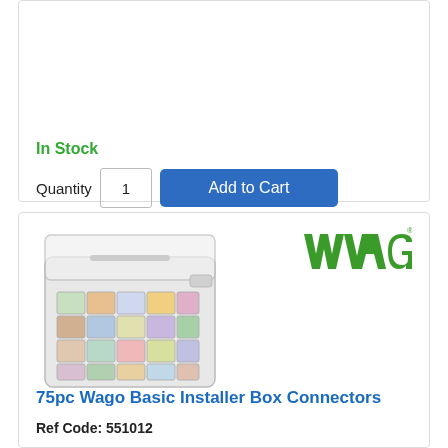In Stock
Quantity  1  Add to Cart
[Figure (photo): Open plastic case containing assorted WAGO connectors arranged in a grid of compartments]
[Figure (logo): WAGO logo in green with registered trademark symbol]
75pc Wago Basic Installer Box Connectors
Ref Code: 551012